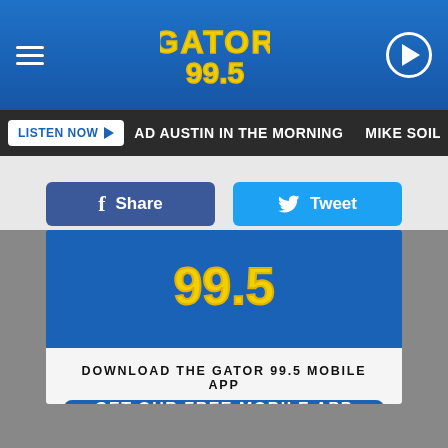[Figure (screenshot): Gator 99.5 radio station website header with hamburger menu, Gator 99.5 yellow graffiti-style logo on blue background, and play button]
LISTEN NOW ▶  AD AUSTIN IN THE MORNING  MIKE SOILEAU AND
[Figure (screenshot): Facebook Share button (dark blue) and Twitter Tweet button (light blue)]
[Figure (screenshot): Gator 99.5 logo on blue background partial view]
DOWNLOAD THE GATOR 99.5 MOBILE APP
GET OUR FREE MOBILE APP
Also listen on:  amazon alexa